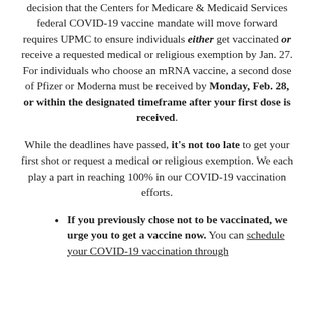decision that the Centers for Medicare & Medicaid Services federal COVID-19 vaccine mandate will move forward requires UPMC to ensure individuals either get vaccinated or receive a requested medical or religious exemption by Jan. 27. For individuals who choose an mRNA vaccine, a second dose of Pfizer or Moderna must be received by Monday, Feb. 28, or within the designated timeframe after your first dose is received.
While the deadlines have passed, it's not too late to get your first shot or request a medical or religious exemption. We each play a part in reaching 100% in our COVID-19 vaccination efforts.
If you previously chose not to be vaccinated, we urge you to get a vaccine now. You can schedule your COVID-19 vaccination through